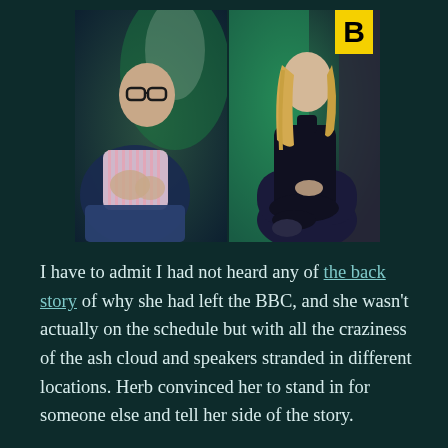[Figure (photo): Two people seated in chairs on a stage with green background and BBC logo. Left: a man wearing glasses and a striped shirt. Right: a blonde woman in a black outfit.]
I have to admit I had not heard any of the back story of why she had left the BBC, and she wasn't actually on the schedule but with all the craziness of the ash cloud and speakers stranded in different locations. Herb convinced her to stand in for someone else and tell her side of the story.